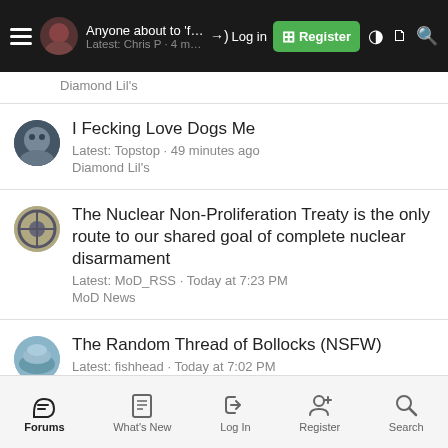Anyone about to 'fly' on holiday? | Latest: Chris P · 4 minutes ago | Diamond Lil's
I Fecking Love Dogs Me
Latest: Topstop · 49 minutes ago
Diamond Lil's
The Nuclear Non-Proliferation Treaty is the only route to our shared goal of complete nuclear disarmament
Latest: MoD_RSS · Today at 7:23 PM
MoD News
The Random Thread of Bollocks (NSFW)
Latest: fishhead · Today at 7:02 PM
Diamond Lil's
Every sympathy - But!
Forums | What's New | Log In | Register | Search